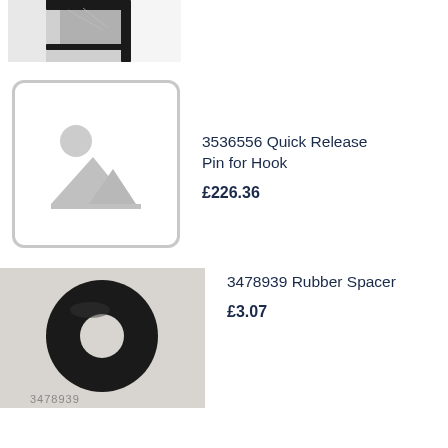[Figure (photo): Partial top view of a black metal hook or bracket part, cropped at top of page]
[Figure (photo): Placeholder image icon (grey mountains and sun) for product with no photo]
3536556 Quick Release Pin for Hook
£226.36
[Figure (photo): Photo of a black rubber spacer/washer (ring-shaped) on a light grey background, part number partially visible at bottom]
3478939 Rubber Spacer
£3.07